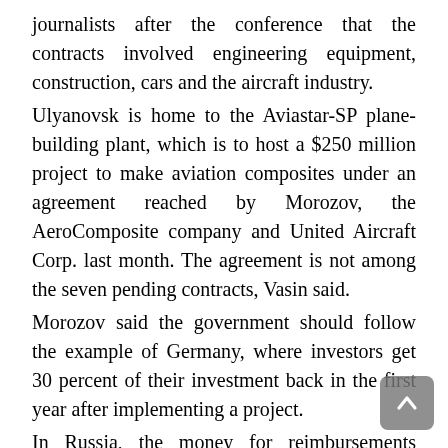journalists after the conference that the contracts involved engineering equipment, construction, cars and the aircraft industry.
Ulyanovsk is home to the Aviastar-SP plane-building plant, which is to host a $250 million project to make aviation composites under an agreement reached by Morozov, the AeroComposite company and United Aircraft Corp. last month. The agreement is not among the seven pending contracts, Vasin said.
Morozov said the government should follow the example of Germany, where investors get 30 percent of their investment back in the first year after implementing a project.
In Russia, the money for reimbursements should come from a combination of the federal, regional and municipal budgets, Morozov said.
“The federal government has pointed to the importance